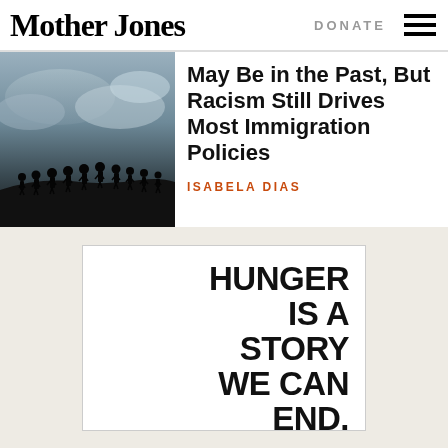Mother Jones | DONATE
[Figure (photo): Silhouettes of people walking against a dramatic cloudy sky]
May Be in the Past, But Racism Still Drives Most Immigration Policies
ISABELA DIAS
[Figure (infographic): Advertisement: HUNGER IS A STORY WE CAN END. Feeding America logo with AdChoices badge and END IT button]